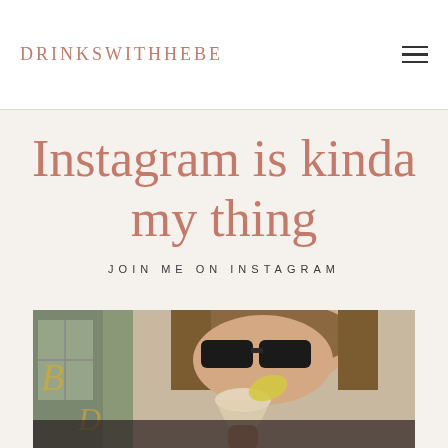DRINKSWITHHEBE
Instagram is kinda my thing
JOIN ME ON INSTAGRAM
[Figure (photo): Photo of a woman with sunglasses drinking from a cocktail glass with a lemon garnish, taken outdoors near a decorative window]